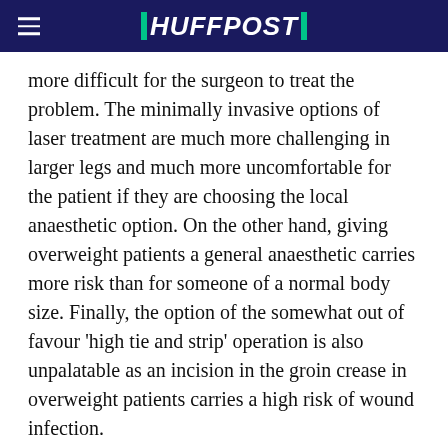HUFFPOST
more difficult for the surgeon to treat the problem. The minimally invasive options of laser treatment are much more challenging in larger legs and much more uncomfortable for the patient if they are choosing the local anaesthetic option. On the other hand, giving overweight patients a general anaesthetic carries more risk than for someone of a normal body size. Finally, the option of the somewhat out of favour 'high tie and strip' operation is also unpalatable as an incision in the groin crease in overweight patients carries a high risk of wound infection.
For patients not fit enough or unsuitable for varicose vein surgery the alternative non-surgical solution of compression stockings is also more difficult